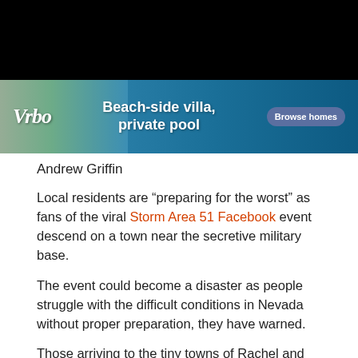[Figure (photo): Black banner image at top of page]
[Figure (photo): Vrbo advertisement banner showing beach-side villa with private pool and Browse homes button]
Andrew Griffin
Local residents are “preparing for the worst” as fans of the viral Storm Area 51 Facebook event descend on a town near the secretive military base.
The event could become a disaster as people struggle with the difficult conditions in Nevada without proper preparation, they have warned.
Those arriving to the tiny towns of Rachel and Hiko, near Area 51, are doing so because of a Facebook event that was one of the site’s most popular ever, before it was shut down. The page, which encouraged people to “see them aliens” and